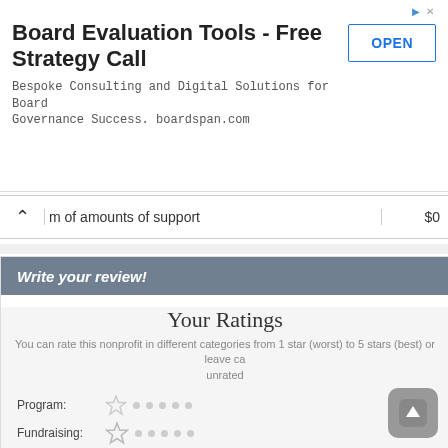[Figure (other): Advertisement banner: Board Evaluation Tools - Free Strategy Call with OPEN button]
|  | Description | Amount |
| --- | --- | --- |
| ^ | m of amounts of support | $0 |
Write your review!
Your Ratings
You can rate this nonprofit in different categories from 1 star (worst) to 5 stars (best) or leave ca unrated
Program: [star] · · · · ·
Fundraising: [star] · · · · ·
Expenses: [star] · · · · ·
Transparency: [star] · · · · ·